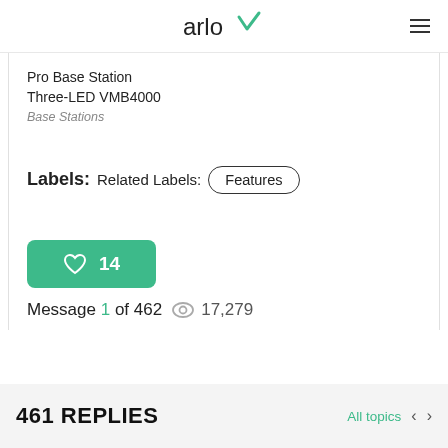arlo
Pro Base Station Three-LED VMB4000
Base Stations
Labels:  Related Labels:  Features
[Figure (infographic): Green rounded rectangle button with heart icon and number 14]
Message 1 of 462  17,279
461 REPLIES
All topics